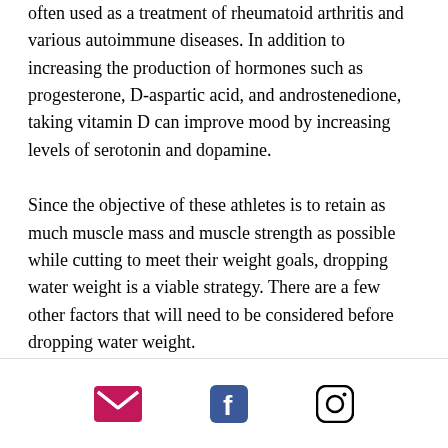often used as a treatment of rheumatoid arthritis and various autoimmune diseases. In addition to increasing the production of hormones such as progesterone, D-aspartic acid, and androstenedione, taking vitamin D can improve mood by increasing levels of serotonin and dopamine.
Since the objective of these athletes is to retain as much muscle mass and muscle strength as possible while cutting to meet their weight goals, dropping water weight is a viable strategy. There are a few other factors that will need to be considered before dropping water weight.
Water weight increases greatly after fasting for 24 hours, while dieting is reduced during
[email icon] [facebook icon] [instagram icon]